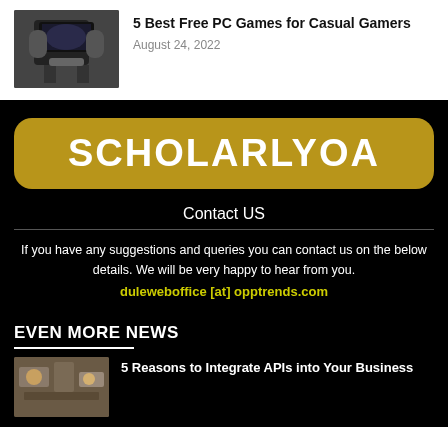[Figure (photo): Gaming setup with chair and monitors]
5 Best Free PC Games for Casual Gamers
August 24, 2022
[Figure (logo): SCHOLARLYOA logo — gold rounded rectangle with white bold text]
Contact US
If you have any suggestions and queries you can contact us on the below details. We will be very happy to hear from you.
duleweboffice [at] opptrends.com
EVEN MORE NEWS
[Figure (photo): API integration concept image]
5 Reasons to Integrate APIs into Your Business